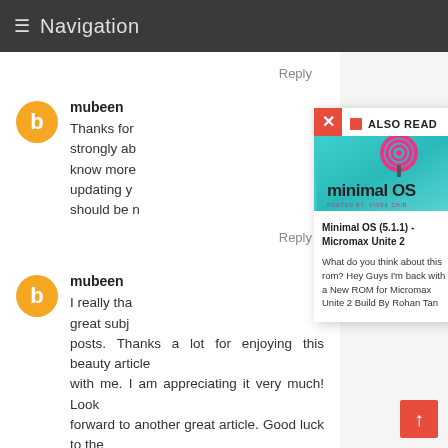Navigation
Reply
mubeen
Thanks for strongly about know more updating you should be m
Reply
mubeen
I really that great subj posts. Thanks a lot for enjoying this beauty article with me. I am appreciating it very much! Look forward to another great article. Good luck to the
ALSO READ
[Figure (photo): Minimal OS image with teal background, pink lollipop swirl icon, and text 'minimal OS' with 'PORTED BY: VIVEK CHIB']
Minimal OS (5.1.1) - Micromax Unite 2
What do you think about this rom? Hey Guys I'm back with a New ROM for Micromax Unite 2 Build By Rohan Tan